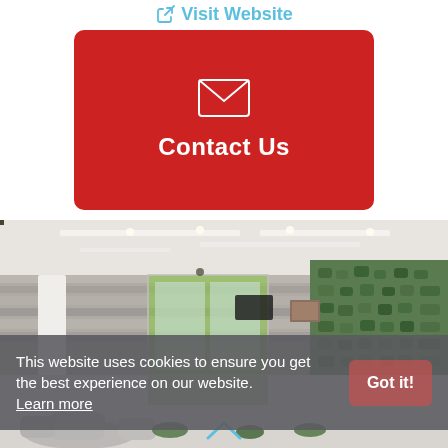Visit Website
[Figure (other): Red rounded rectangle button with white envelope/mail icon and bold white text 'Contact Us']
[Figure (photo): Interior photo of a modern building lobby or healthcare facility with wood-panel accent wall, green living plant wall, white columns, recessed ceiling lights, and seating area in the foreground]
This website uses cookies to ensure you get the best experience on our website. Learn more  Got it!